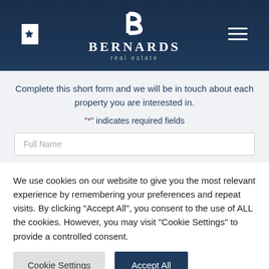[Figure (logo): Bernards Real Estate logo with stylized B letter on dark navy background, bookmark and hamburger menu icons on left and right]
Complete this short form and we will be in touch about each property you are interested in.
"*" indicates required fields
Full Name
We use cookies on our website to give you the most relevant experience by remembering your preferences and repeat visits. By clicking "Accept All", you consent to the use of ALL the cookies. However, you may visit "Cookie Settings" to provide a controlled consent.
Cookie Settings
Accept All